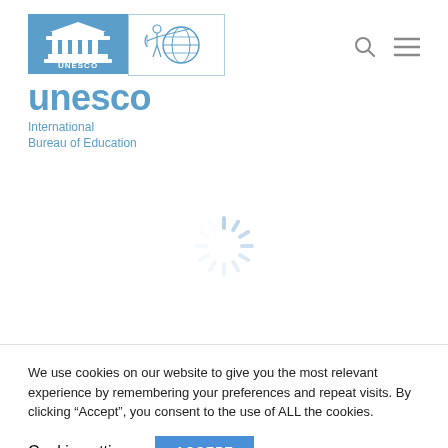[Figure (logo): UNESCO International Bureau of Education logo with UNESCO emblem (temple icon on blue background) and archer/globe icon in outlined box, with large blue 'unesco' text and 'International Bureau of Education' subtitle]
[Figure (other): Loading spinner (circular dashed spinner icon in light blue/grey)]
We use cookies on our website to give you the most relevant experience by remembering your preferences and repeat visits. By clicking “Accept”, you consent to the use of ALL the cookies.
Cookie settings
ACCEPT